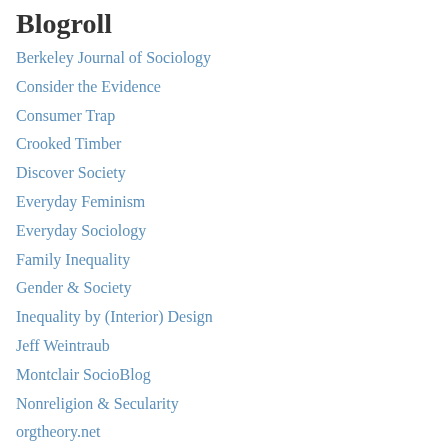Blogroll
Berkeley Journal of Sociology
Consider the Evidence
Consumer Trap
Crooked Timber
Discover Society
Everyday Feminism
Everyday Sociology
Family Inequality
Gender & Society
Inequality by (Interior) Design
Jeff Weintraub
Montclair SocioBlog
Nonreligion & Secularity
orgtheory.net
Pacific Standard